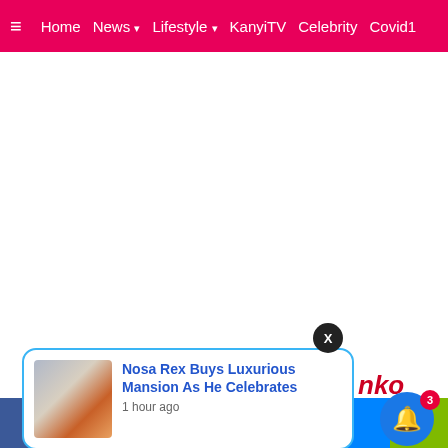≡  Home  News ▾  Lifestyle ▾  KanyiTV  Celebrity  Covid1
[Figure (screenshot): White blank content area below navigation bar]
[Figure (screenshot): Close (X) button dark circle overlay on notification popup]
[Figure (screenshot): Notification popup with house/couple thumbnail image and text: Nosa Rex Buys Luxurious Mansion As He Celebrates, 1 hour ago]
nko
[Figure (screenshot): Social share bar with Facebook, Twitter, WhatsApp, Messenger buttons]
[Figure (screenshot): Bell notification button with badge showing 3]